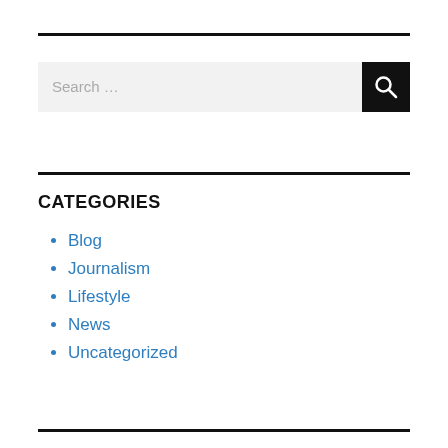Search …
CATEGORIES
Blog
Journalism
Lifestyle
News
Uncategorized